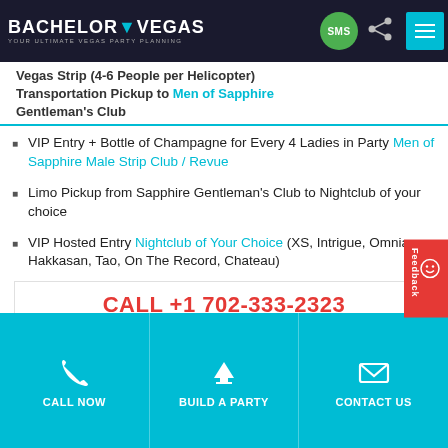Bachelor Vegas — YOUR ULTIMATE VEGAS PARTY PLANNING
Vegas Strip (4-6 People per Helicopter) Transportation Pickup to Men of Sapphire Gentleman's Club
VIP Entry + Bottle of Champagne for Every 4 Ladies in Party Men of Sapphire Male Strip Club / Revue
Limo Pickup from Sapphire Gentleman's Club to Nightclub of your choice
VIP Hosted Entry Nightclub of Your Choice (XS, Intrigue, Omnia, Hakkasan, Tao, On The Record, Chateau)
CALL +1 702-333-2323
FOR EXCLUSIVE PRICING
REQUEST A QUOTE
CALL NOW | BUILD A PARTY | CONTACT US